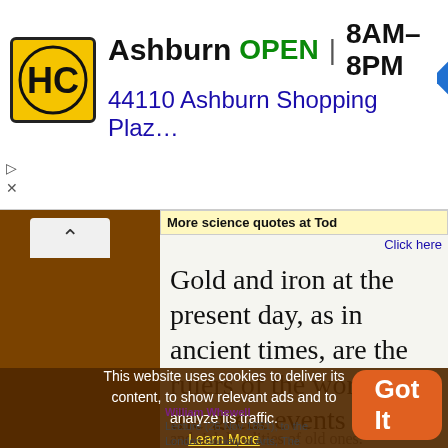[Figure (screenshot): Advertisement banner for Hairclub (HC) Ashburn location. Shows HC logo in yellow square, business name 'Ashburn', OPEN status in green, hours '8AM–8PM', address '44110 Ashburn Shopping Plaz...', and a blue navigation arrow icon.]
More science quotes at Tod
Click here
Gold and iron at the present day, as in ancient times, are the rulers of the world; and the great events in the world of mineral art are not the discovery of new substances, but of new and rich localities of old ones.
This website uses cookies to deliver its content, to show relevant ads and to analyze its traffic. Learn More
William Whewell Lecture (26 Nov 1851), to the London Society of Arts, The General Bearing of the Great